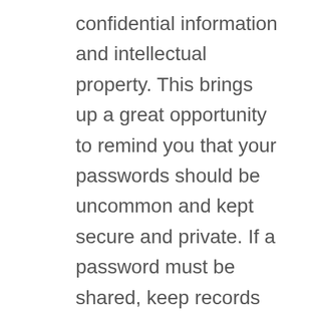confidential information and intellectual property. This brings up a great opportunity to remind you that your passwords should be uncommon and kept secure and private. If a password must be shared, keep records of who has permission to use them and consider drawing up an exclusivity document where they agree to keep the password private. Having signatures involved creates the perception that the password access is controlled and that users are held accountable for possible leaks.
Potential Government Intrusion
Thanks to recent leaks about government surveillance programs we know that the